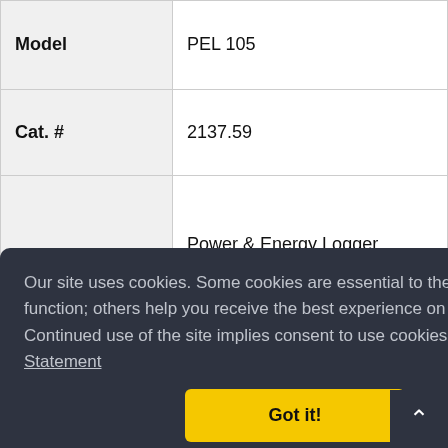| Field | Value |
| --- | --- |
| Model | PEL 105 |
| Cat. # | 2137.59 |
| Description | Power & Energy Logger Model PEL 105 w/4 196A-24-BK AmpFlex® Sensors (Waterproof IP67) |
|  | g, |
Our site uses cookies. Some cookies are essential to the website's function; others help you receive the best experience on our website. Continued use of the site implies consent to use cookies. Privacy Statement
Got it!
power cord, (12) color-coded ID